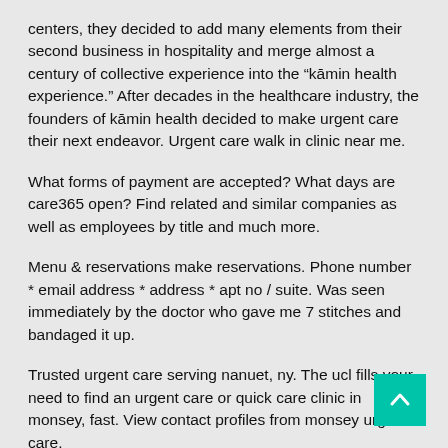centers, they decided to add many elements from their second business in hospitality and merge almost a century of collective experience into the “kāmin health experience.” After decades in the healthcare industry, the founders of kāmin health decided to make urgent care their next endeavor. Urgent care walk in clinic near me.
What forms of payment are accepted? What days are care365 open? Find related and similar companies as well as employees by title and much more.
Menu & reservations make reservations. Phone number * email address * address * apt no / suite. Was seen immediately by the doctor who gave me 7 stitches and bandaged it up.
Trusted urgent care serving nanuet, ny. The ucl fills your need to find an urgent care or quick care clinic in monsey, fast. View contact profiles from monsey urgent care.
Patients have given an average rating of 2.5 stars out of 5 for